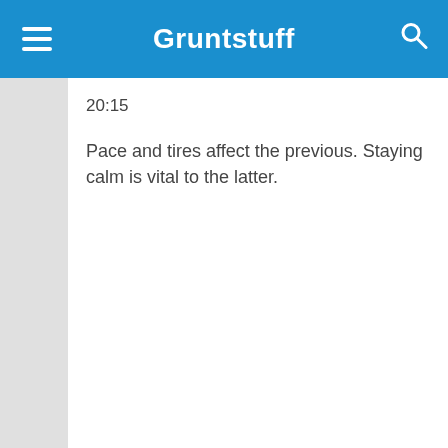Gruntstuff
20:15
Pace and tires affect the previous. Staying calm is vital to the latter.